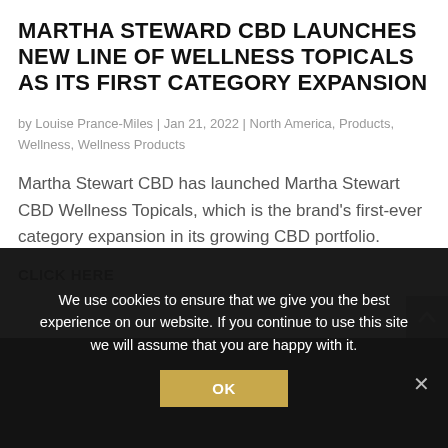MARTHA STEWARD CBD LAUNCHES NEW LINE OF WELLNESS TOPICALS AS ITS FIRST CATEGORY EXPANSION
by Louise Prance-Miles | Jan 21, 2022 | North America, Products, Wellness, Wellness Products
Martha Stewart CBD has launched Martha Stewart CBD Wellness Topicals, which is the brand's first-ever category expansion in its growing CBD portfolio.
CLICK HERE
We use cookies to ensure that we give you the best experience on our website. If you continue to use this site we will assume that you are happy with it.